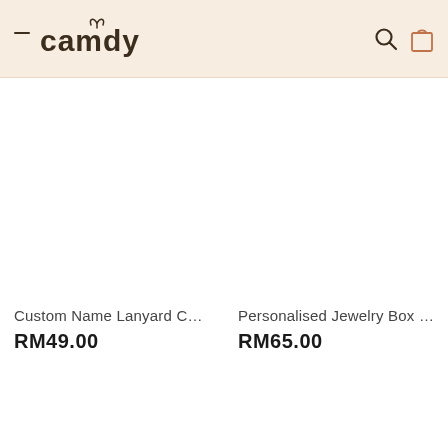camdy
Custom Name Lanyard Card... RM49.00
Personalised Jewelry Box C... RM65.00